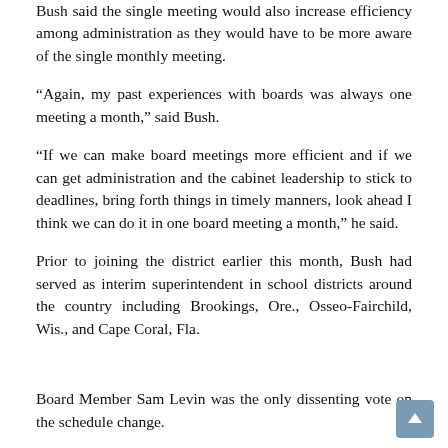Bush said the single meeting would also increase efficiency among administration as they would have to be more aware of the single monthly meeting.
“Again, my past experiences with boards was always one meeting a month,” said Bush.
“If we can make board meetings more efficient and if we can get administration and the cabinet leadership to stick to deadlines, bring forth things in timely manners, look ahead I think we can do it in one board meeting a month,” he said.
Prior to joining the district earlier this month, Bush had served as interim superintendent in school districts around the country including Brookings, Ore., Osseo-Fairchild, Wis., and Cape Coral, Fla.
Board Member Sam Levin was the only dissenting vote on the schedule change.